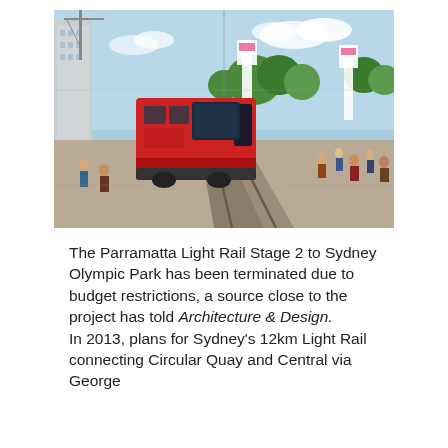[Figure (photo): A red light rail tram travelling along tracks in an urban area with pedestrians, trees, and tall buildings in the background under a blue sky.]
The Parramatta Light Rail Stage 2 to Sydney Olympic Park has been terminated due to budget restrictions, a source close to the project has told Architecture & Design.
In 2013, plans for Sydney's 12km Light Rail connecting Circular Quay and Central via George